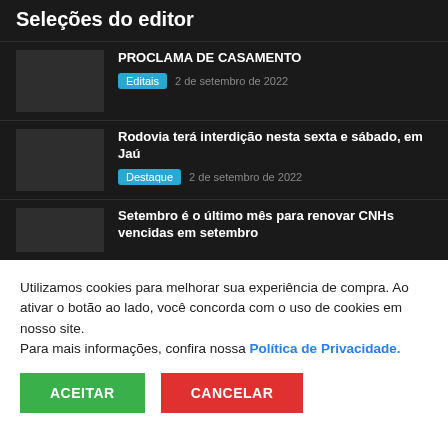Seleções do editor
PROCLAMA DE CASAMENTO
Editais  2 de setembro de 2022
Rodovia terá interdição nesta sexta e sábado, em Jaú
Destaque  2 de setembro de 2022
Setembro é o último mês para renovar CNHs vencidas em setembro
Utilizamos cookies para melhorar sua experiência de compra. Ao ativar o botão ao lado, você concorda com o uso de cookies em nosso site. Para mais informações, confira nossa Política de Privacidade.
ACEITAR
CANCELAR